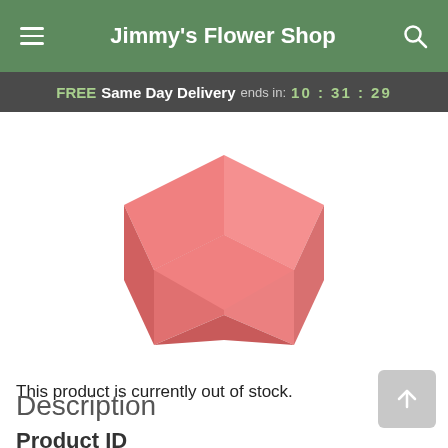Jimmy's Flower Shop
FREE Same Day Delivery ends in: 10 : 31 : 29
[Figure (illustration): 3D isometric pink heart-shaped box or V-shaped gift box illustration]
This product is currently out of stock.
Description
Product ID